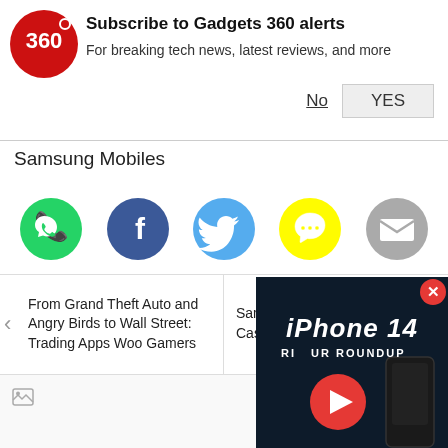[Figure (logo): Gadgets 360 red circle logo with '360' text and dot]
Subscribe to Gadgets 360 alerts
For breaking tech news, latest reviews, and more
No
YES
Samsung Mobiles
[Figure (infographic): Row of social media share icons: WhatsApp (green), Facebook (dark blue), Twitter (light blue), Snapchat (yellow), Email (gray)]
From Grand Theft Auto and Angry Birds to Wall Street: Trading Apps Woo Gamers
Samsung to Use $56 Billion Cash Pile for Growth, Including
Featured
[Figure (screenshot): iPhone 14 Rumour Roundup video overlay with play button on dark background]